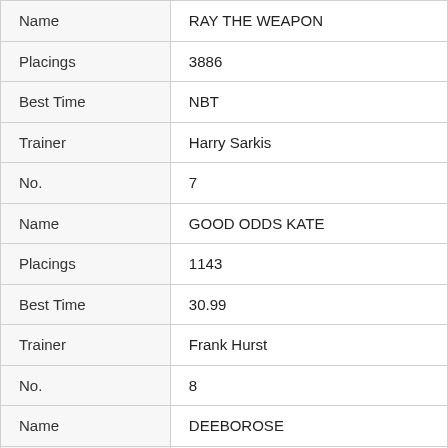| Field | Value |
| --- | --- |
| Name | RAY THE WEAPON |
| Placings | 3886 |
| Best Time | NBT |
| Trainer | Harry Sarkis |
| No. | 7 |
| Name | GOOD ODDS KATE |
| Placings | 1143 |
| Best Time | 30.99 |
| Trainer | Frank Hurst |
| No. | 8 |
| Name | DEEBOROSE |
| Placings | 5821 |
| Best Time | 30.53 |
| Trainer | Garry Edwards |
| No. | 9 |
| Name | TILLY LOWNDES |
| Placings | 6787 |